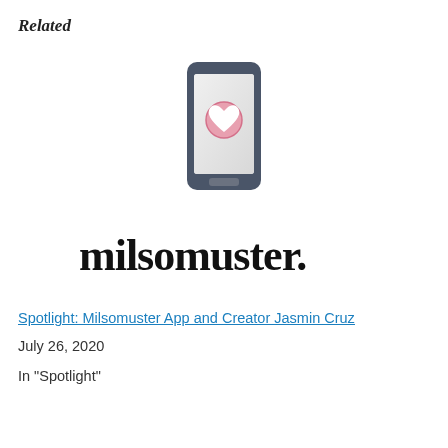Related
[Figure (logo): Milsomuster app logo: a smartphone icon with a heart on screen above cursive 'milsomuster.' text]
Spotlight: Milsomuster App and Creator Jasmin Cruz
July 26, 2020
In "Spotlight"